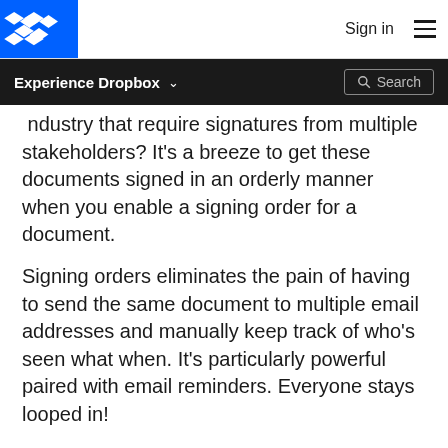Sign in [hamburger menu]
Experience Dropbox [dropdown] [Search]
industry that require signatures from multiple stakeholders? It's a breeze to get these documents signed in an orderly manner when you enable a signing order for a document.
Signing orders eliminates the pain of having to send the same document to multiple email addresses and manually keep track of who's seen what when. It's particularly powerful paired with email reminders. Everyone stays looped in!
You can assign a signing order when you're setting up your document for signature. You can also now assign a signing order when setting up a document template.